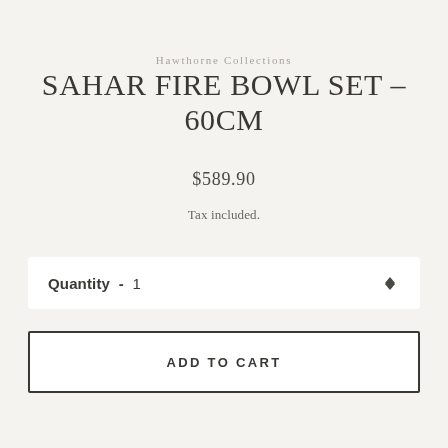Hawthorne Collections
SAHAR FIRE BOWL SET - 60CM
$589.90
Tax included.
Quantity  -  1
ADD TO CART